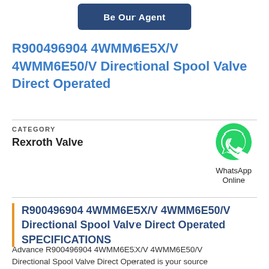[Figure (other): Dark blue button labeled 'Be Our Agent']
R900496904 4WMM6E5X/V 4WMM6E50/V Directional Spool Valve Direct Operated
CATEGORY
Rexroth Valve
[Figure (other): WhatsApp green phone icon with text 'WhatsApp Online']
R900496904 4WMM6E5X/V 4WMM6E50/V Directional Spool Valve Direct Operated SPECIFICATIONS
Advance R900496904 4WMM6E5X/V 4WMM6E50/V Directional Spool Valve Direct Operated is your source for LM48514 Rotation quality Rexroth Valve and